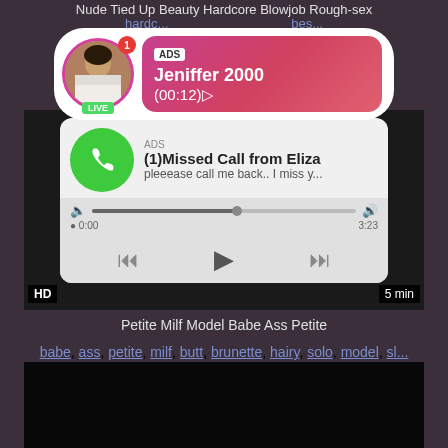Nude Tied Up Beauty Hardcore Blowjob Rough-sex
hardc... bes...
[Figure (screenshot): Advertisement overlay showing a live stream ad with a woman's avatar, pink gradient background, ADS label, name Jeniffer 2000, time (00:12)]
[Figure (screenshot): Fake missed call advertisement card showing green phone icon, (1)Missed Call from Eliza, text 'pleeease call me back.. I miss y...', audio progress bar, playback controls with rewind, play, fast-forward buttons, time 0:00 to 3:23. HD badge and 5 min duration overlay.]
Petite Milf Model Babe Ass Petite
babe, ass, petite, milf, butt, brunette, hairy, solo, model, sl...
[Figure (screenshot): Black video player area at bottom of page]